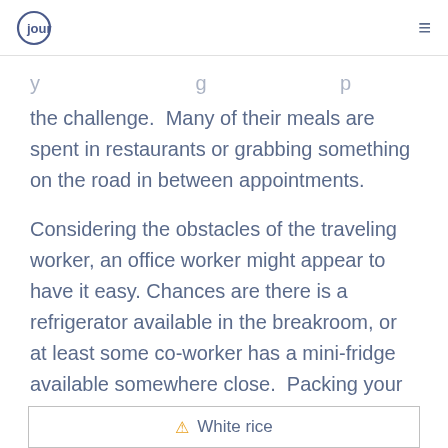journey
the challenge.  Many of their meals are spent in restaurants or grabbing something on the road in between appointments.
Considering the obstacles of the traveling worker, an office worker might appear to have it easy. Chances are there is a refrigerator available in the breakroom, or at least some co-worker has a mini-fridge available somewhere close.  Packing your lunch with a balanced, healthy array of foods may be easier for someone in the office than someone who travels.
[Figure (other): Partial view of a bordered box at the bottom of the page, showing a warning icon and the beginning of text 'White rice']